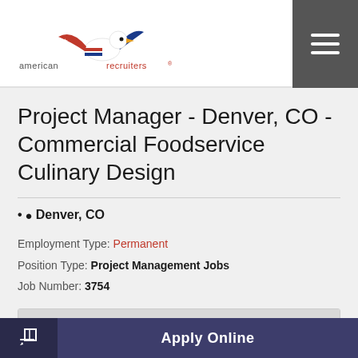american recruiters
Project Manager - Denver, CO - Commercial Foodservice Culinary Design
Denver, CO
Employment Type: Permanent
Position Type: Project Management Jobs
Job Number: 3754
Job Description
Project Manager - Denver, CO - Commercial Foodservice...
Apply Online